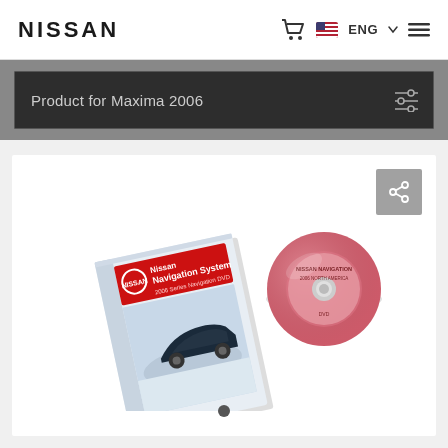NISSAN
Product for Maxima 2006
[Figure (photo): Nissan Navigation System product photo showing a booklet/manual with a Nissan car on the cover and a pink/red DVD disc next to it]